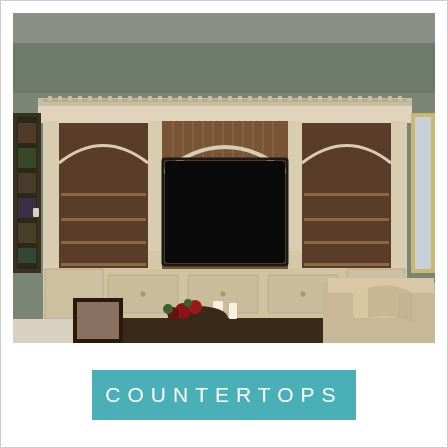[Figure (photo): Interior living room photo showing a large ornate cream/antique white entertainment center with decorative carved crown molding, arched shelving on both sides, a large flat-screen TV in the center, and multiple storage drawers at the bottom. The room has sage green walls, white carpet, a dark wood coffee table with candles and flowers, a framed photo, and a beige sofa/chaise visible in the foreground right.]
COUNTERTOPS